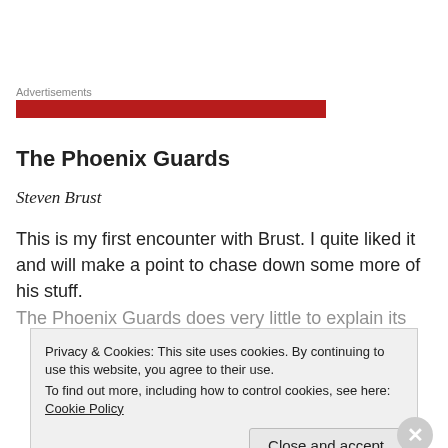Advertisements
The Phoenix Guards
Steven Brust
This is my first encounter with Brust. I quite liked it and will make a point to chase down some more of his stuff.
The Phoenix Guards does very little to explain its
Privacy & Cookies: This site uses cookies. By continuing to use this website, you agree to their use.
To find out more, including how to control cookies, see here: Cookie Policy
Close and accept
Advertisements